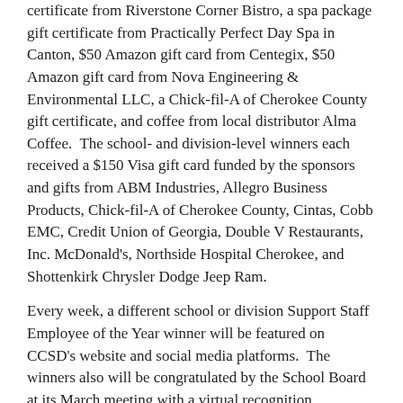certificate from Riverstone Corner Bistro, a spa package gift certificate from Practically Perfect Day Spa in Canton, $50 Amazon gift card from Centegix, $50 Amazon gift card from Nova Engineering & Environmental LLC, a Chick-fil-A of Cherokee County gift certificate, and coffee from local distributor Alma Coffee.  The school- and division-level winners each received a $150 Visa gift card funded by the sponsors and gifts from ABM Industries, Allegro Business Products, Chick-fil-A of Cherokee County, Cintas, Cobb EMC, Credit Union of Georgia, Double V Restaurants, Inc. McDonald's, Northside Hospital Cherokee, and Shottenkirk Chrysler Dodge Jeep Ram.
Every week, a different school or division Support Staff Employee of the Year winner will be featured on CCSD's website and social media platforms.  The winners also will be congratulated by the School Board at its March meeting with a virtual recognition.
CCSD Elementary Schools Winner: Bonnie Schroeder, supportive instruction paraprofessional for Sixes Elementary School
Ms. Schroeder, who has 21 years of service with CCSD, including 12 years in her current role, is known for the